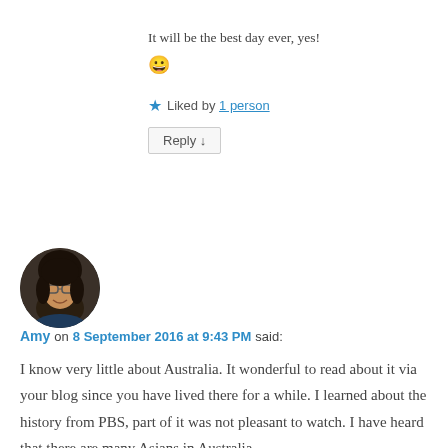It will be the best day ever, yes!
😀
★ Liked by 1 person
Reply ↓
[Figure (photo): Circular avatar photo of Amy, an Asian woman with glasses and dark hair, smiling]
Amy on 8 September 2016 at 9:43 PM said:
I know very little about Australia. It wonderful to read about it via your blog since you have lived there for a while. I learned about the history from PBS, part of it was not pleasant to watch. I have heard that there are many Asians in Australia.